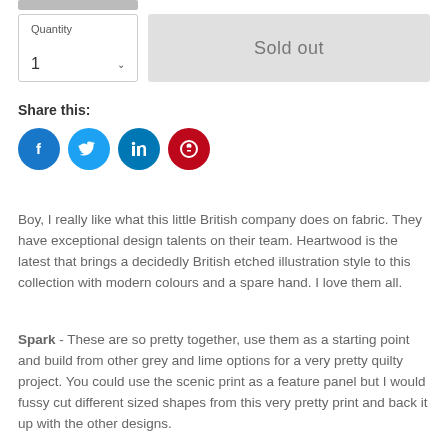[Figure (screenshot): Quantity selector box showing '1' with dropdown arrow, and a 'Sold out' grey button beside it]
Share this:
[Figure (infographic): Social media sharing icons: Facebook (blue circle), Twitter (light blue circle), LinkedIn (blue circle), Pinterest (red circle)]
Boy, I really like what this little British company does on fabric. They have exceptional design talents on their team.  Heartwood is the latest that brings a decidedly British etched illustration style to this collection with modern colours and a spare hand.  I love them all.
Spark - These are so pretty together, use them as a starting point and build from other grey and lime options for a very pretty quilty project. You could use the scenic print as a feature panel but I would fussy cut different sized shapes from this very pretty print and back it up with the other designs.